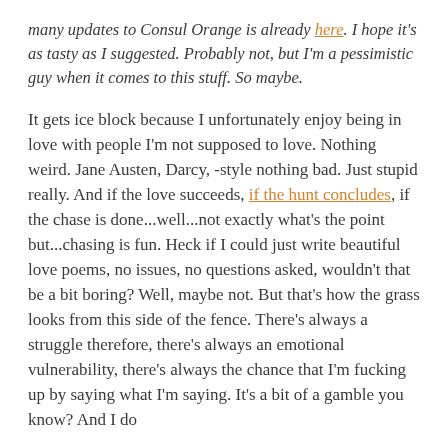many updates to Consul Orange is already here. I hope it's as tasty as I suggested. Probably not, but I'm a pessimistic guy when it comes to this stuff. So maybe.
It gets ice block because I unfortunately enjoy being in love with people I'm not supposed to love. Nothing weird. Jane Austen, Darcy, -style nothing bad. Just stupid really. And if the love succeeds, if the hunt concludes, if the chase is done...well...not exactly what's the point but...chasing is fun. Heck if I could just write beautiful love poems, no issues, no questions asked, wouldn't that be a bit boring? Well, maybe not. But that's how the grass looks from this side of the fence. There's always a struggle therefore, there's always an emotional vulnerability, there's always the chance that I'm fucking up by saying what I'm saying. It's a bit of a gamble you know? And I do